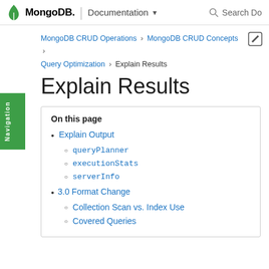MongoDB | Documentation  Search Do
MongoDB CRUD Operations > MongoDB CRUD Concepts > Query Optimization > Explain Results
Explain Results
On this page
Explain Output
queryPlanner
executionStats
serverInfo
3.0 Format Change
Collection Scan vs. Index Use
Covered Queries